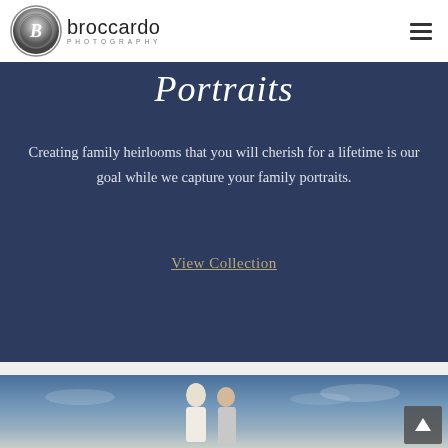[Figure (logo): Broccardo Photography logo with circular B emblem and text 'broccardo PHOTOGRAPHY']
Portraits
Creating family heirlooms that you will cherish for a lifetime is our goal while we capture your family portraits.
View Collection
[Figure (photo): A couple posing outdoors against a sky background — man in white shirt, woman with dark hair — partial view at bottom of page]